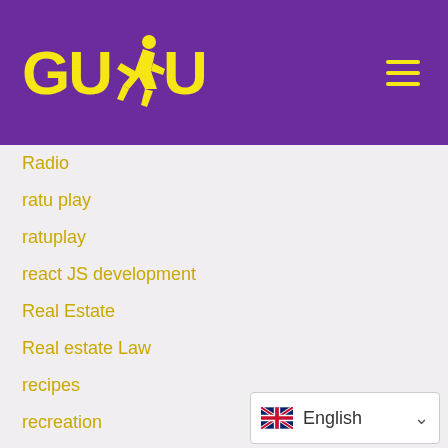[Figure (logo): GUDU logo in yellow on purple background with running figure silhouette]
Radio
ratu play
ratuplay
react JS development
Real Estate
Real estate Law
recipes
recreation
Recreation & Sports
Recreation & Sports:Biking
Recreation & Sports:Fishing
Recreation & Sports:Martial Arts